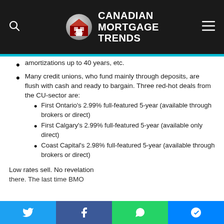Canadian Mortgage Trends
amortizations up to 40 years, etc.
Many credit unions, who fund mainly through deposits, are flush with cash and ready to bargain. Three red-hot deals from the CU-sector are:
First Ontario's 2.99% full-featured 5-year (available through brokers or direct)
First Calgary's 2.99% full-featured 5-year (available only direct)
Coast Capital's 2.98% full-featured 5-year (available through brokers or direct)
Low rates sell. No revelation there. The last time BMO...